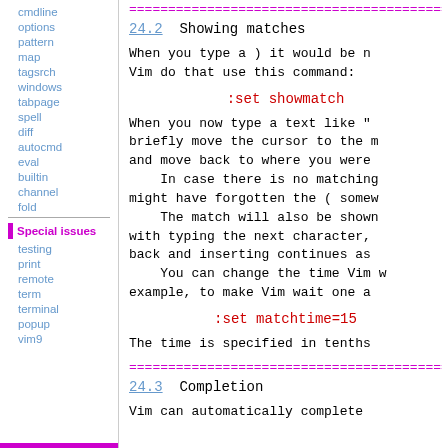cmdline
options
pattern
map
tagsrch
windows
tabpage
spell
diff
autocmd
eval
builtin
channel
fold
Special issues
testing
print
remote
term
terminal
popup
vim9
====================
24.2  Showing matches
When you type a ) it would be n
Vim do that use this command:
When you now type a text like "
briefly move the cursor to the m
and move back to where you were
    In case there is no matching
might have forgotten the ( somew
    The match will also be shown
with typing the next character,
back and inserting continues as
    You can change the time Vim w
example, to make Vim wait one a
The time is specified in tenths
====================
24.3  Completion
Vim can automatically complete